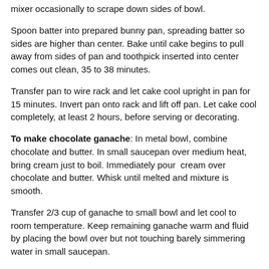mixer occasionally to scrape down sides of bowl.
Spoon batter into prepared bunny pan, spreading batter so sides are higher than center. Bake until cake begins to pull away from sides of pan and toothpick inserted into center comes out clean, 35 to 38 minutes.
Transfer pan to wire rack and let cake cool upright in pan for 15 minutes. Invert pan onto rack and lift off pan. Let cake cool completely, at least 2 hours, before serving or decorating.
To make chocolate ganache: In metal bowl, combine chocolate and butter. In small saucepan over medium heat, bring cream just to boil. Immediately pour  cream over chocolate and butter. Whisk until melted and mixture is smooth.
Transfer 2/3 cup of ganache to small bowl and let cool to room temperature. Keep remaining ganache warm and fluid by placing the bowl over but not touching barely simmering water in small saucepan.